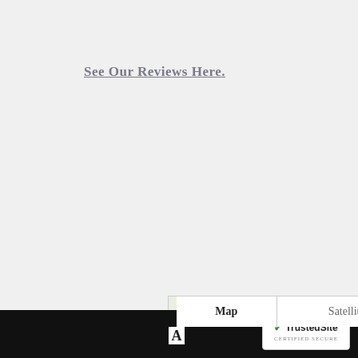See Our Reviews Here.
[Figure (map): Google Map showing Lake Forest area near Irvine, California with a red location pin marker, Map/Satellite toggle, zoom controls, and pegman icon. Shows highways 5, 133, 241, 405, 73, and labels for Irvine, Lake Forest, Mission Viejo.]
TrustedSite CERTIFIED SECURE